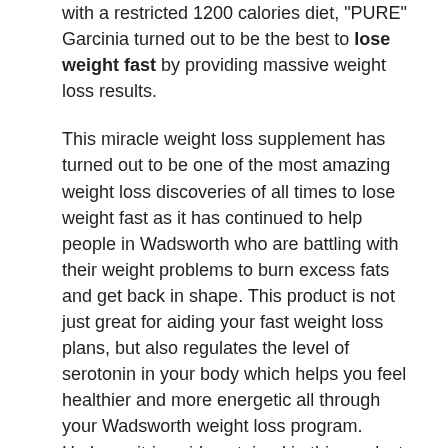with a restricted 1200 calories diet, "PURE" Garcinia turned out to be the best to lose weight fast by providing massive weight loss results.
This miracle weight loss supplement has turned out to be one of the most amazing weight loss discoveries of all times to lose weight fast as it has continued to help people in Wadsworth who are battling with their weight problems to burn excess fats and get back in shape. This product is not just great for aiding your fast weight loss plans, but also regulates the level of serotonin in your body which helps you feel healthier and more energetic all through your Wadsworth weight loss program. Hydroxycitric acid contained in this product has also been found by some recent Ohio researches to block ATP which is known to be the enzyme responsible for the conversion of carbohydrates to fats.
There are very few weight loss products out there today in Wadsworth that come with little or no known side effects. "PURE" Garcinia Select is one of such products whose intake is not associated with any negative effects. Taking this weight loss supplement in Wadsworth is quite safe because it was extracted from the natural Garcinia fruit without any additives. With Garcinia Cambogia, you are not just guaranteed an